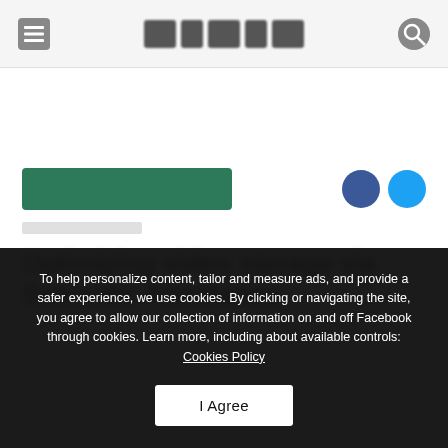[Navigation bar with menu icon, logo, and search icon]
[Figure (screenshot): Blurred article page showing a category tag in green, Facebook and Twitter share buttons, a blurred date, and a blurred article title 'Optimizing video storage via Semantic Annotation']
To help personalize content, tailor and measure ads, and provide a safer experience, we use cookies. By clicking or navigating the site, you agree to allow our collection of information on and off Facebook through cookies. Learn more, including about available controls: Cookies Policy
I Agree